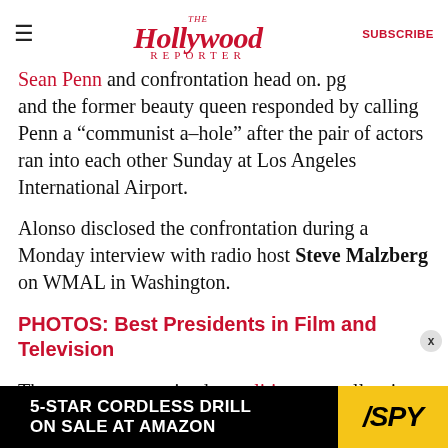The Hollywood Reporter | SUBSCRIBE
Sean Penn and confrontation head on. Pg and the former beauty queen responded by calling Penn a “communist a–hole” after the pair of actors ran into each other Sunday at Los Angeles International Airport.
Alonso disclosed the confrontation during a Monday interview with radio host Steve Malzberg on WMAL in Washington.
PHOTOS: Best Presidents in Film and Television
The argument pertained to politics, naturally, since
[Figure (other): Advertisement banner: 5-STAR CORDLESS DRILL ON SALE AT AMAZON / SPY logo on yellow background]